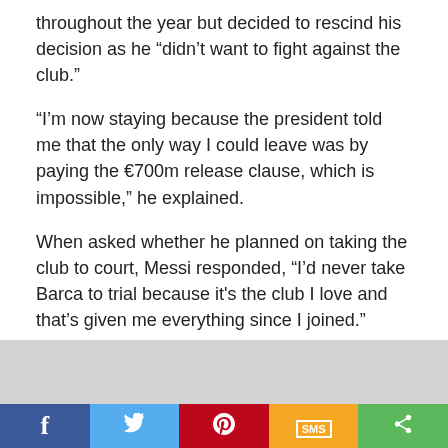throughout the year but decided to rescind his decision as he “didn’t want to fight against the club.”
“I’m now staying because the president told me that the only way I could leave was by paying the €700m release clause, which is impossible,” he explained.
When asked whether he planned on taking the club to court, Messi responded, “I’d never take Barca to trial because it's the club I love and that’s given me everything since I joined.”
Messi ’s announcement lays to rest an intense transfer saga which captured the attention of the world, considering
[Figure (other): Social media share bar with Facebook, Twitter, Pinterest, SMS, and share icons]